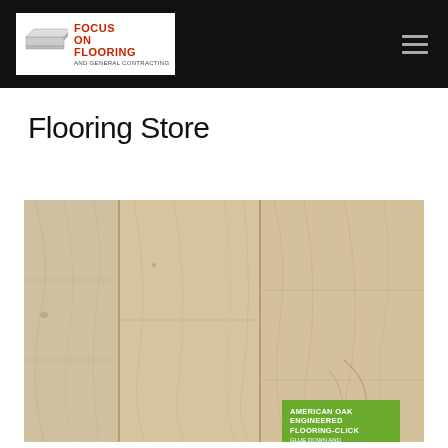Focus On Flooring and General Contracting — navigation header
Flooring Store
[Figure (photo): Light-colored American Oak engineered hardwood flooring planks arranged side by side showing wood grain texture. A green product label on the right reads: AMERICAN OAK ENGINEERED FLOORING-CLICK, 5 inch X 3/8 inch, TORINO, VIDAR brand logo.]